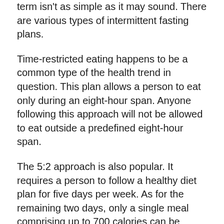term isn't as simple as it may sound. There are various types of intermittent fasting plans.
Time-restricted eating happens to be a common type of the health trend in question. This plan allows a person to eat only during an eight-hour span. Anyone following this approach will not be allowed to eat outside a predefined eight-hour span.
The 5:2 approach is also popular. It requires a person to follow a healthy diet plan for five days per week. As for the remaining two days, only a single meal comprising up to 700 calories can be consumed.
Benefits of intermittent fasting